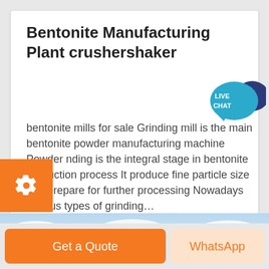Bentonite Manufacturing Plant crushershaker
bentonite mills for sale Grinding mill is the main bentonite powder manufacturing machine Powder nding is the integral stage in bentonite production process It produce fine particle size and prepare for further processing Nowadays various types of grinding…
[Figure (photo): Sky with white clouds, light blue sky background, panoramic strip view]
Get a Quote
WhatsApp